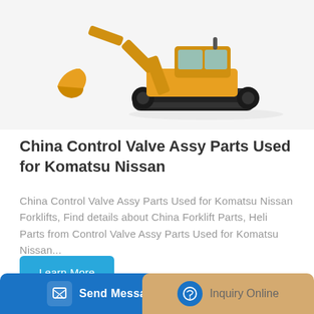[Figure (photo): Yellow excavator construction machine on white/light gray background]
China Control Valve Assy Parts Used for Komatsu Nissan
China Control Valve Assy Parts Used for Komatsu Nissan Forklifts, Find details about China Forklift Parts, Heli Parts from Control Valve Assy Parts Used for Komatsu Nissan...
[Figure (other): Learn More button — teal/blue rounded rectangle]
[Figure (photo): Yellow construction loader/forklift machine on light background]
[Figure (other): Bottom navigation bar with Send Message (blue) and Inquiry Online (tan/gold) buttons]